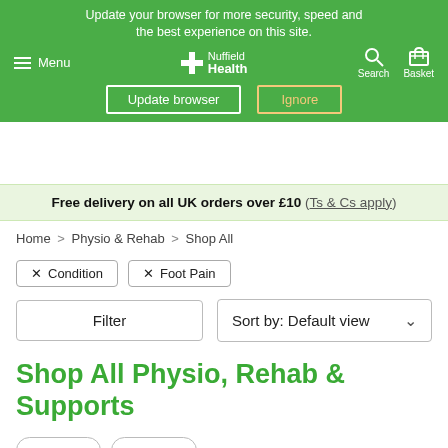Update your browser for more security, speed and the best experience on this site.
Menu | Nuffield Health | Search | Basket
Update browser | Ignore
Free delivery on all UK orders over £10 (Ts & Cs apply)
Home > Physio & Rehab > Shop All
× Condition  × Foot Pain
Filter
Sort by: Default view
Shop All Physio, Rehab & Supports